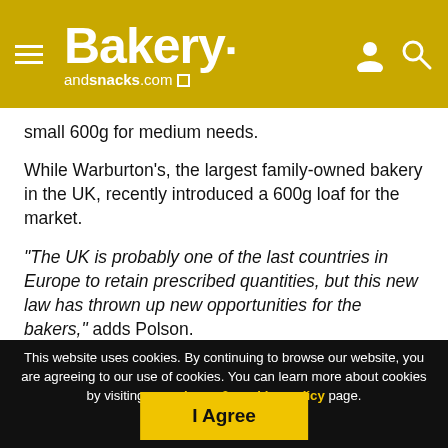Bakery andsnacks.com
small 600g for medium needs.
While Warburton's, the largest family-owned bakery in the UK, recently introduced a 600g loaf for the market.
"The UK is probably one of the last countries in Europe to retain prescribed quantities, but this new law has thrown up new opportunities for the bakers," adds Polson.
Folic acid, a final decision?
This website uses cookies. By continuing to browse our website, you are agreeing to our use of cookies. You can learn more about cookies by visiting our privacy & cookies policy page.
I Agree